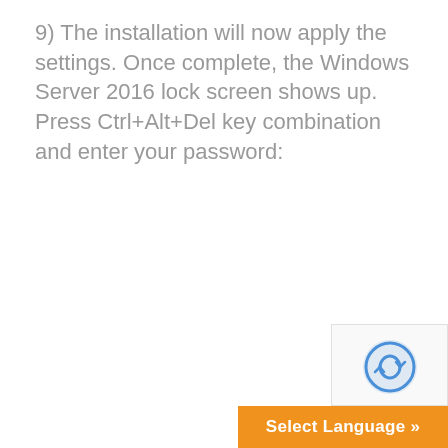9) The installation will now apply the settings. Once complete, the Windows Server 2016 lock screen shows up.
Press Ctrl+Alt+Del key combination and enter your password:
[Figure (screenshot): reCAPTCHA widget partially visible in bottom right corner]
Select Language »